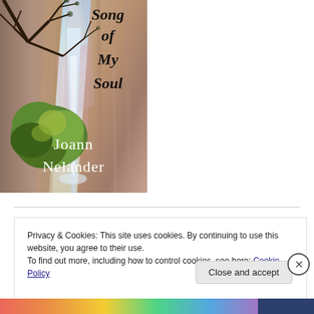[Figure (illustration): Book cover for 'Song of My Soul' by Joann Nelander. Features a painted landscape with a waterfall, colorful canyon walls, and a tree with bare branches in the foreground. Title text in black italic font at top, author name in white serif font at bottom.]
Privacy & Cookies: This site uses cookies. By continuing to use this website, you agree to their use.
To find out more, including how to control cookies, see here: Cookie Policy
Close and accept